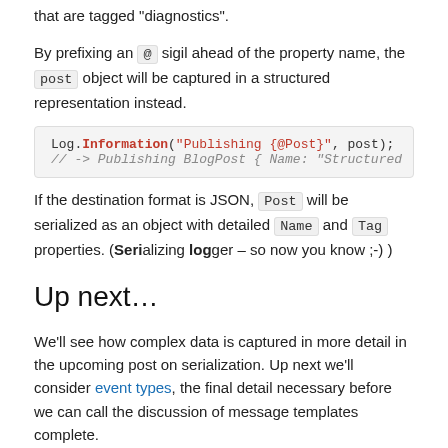that are tagged "diagnostics".
By prefixing an @ sigil ahead of the property name, the post object will be captured in a structured representation instead.
Log.Information("Publishing {@Post}", post);
// -> Publishing BlogPost { Name: "Structured
If the destination format is JSON, Post will be serialized as an object with detailed Name and Tag properties. (Serializing logger – so now you know ;-) )
Up next…
We'll see how complex data is captured in more detail in the upcoming post on serialization. Up next we'll consider event types, the final detail necessary before we can call the discussion of message templates complete.